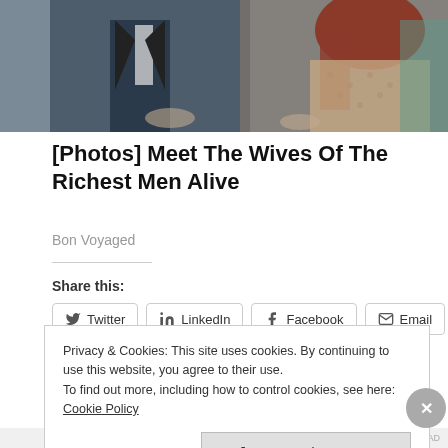[Figure (photo): Cropped photo showing a man in a dark suit and a woman with red hair in a patterned dress, seated]
[Photos] Meet The Wives Of The Richest Men Alive
Bon Voyaged
Share this:
Twitter LinkedIn Facebook Email Pinterest
Privacy & Cookies: This site uses cookies. By continuing to use this website, you agree to their use.
To find out more, including how to control cookies, see here: Cookie Policy
Close and accept